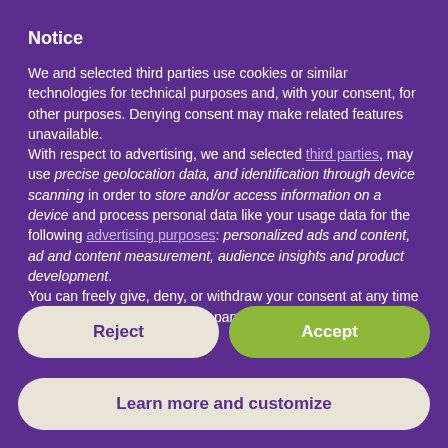Notice
We and selected third parties use cookies or similar technologies for technical purposes and, with your consent, for other purposes. Denying consent may make related features unavailable.
With respect to advertising, we and selected third parties, may use precise geolocation data, and identification through device scanning in order to store and/or access information on a device and process personal data like your usage data for the following advertising purposes: personalized ads and content, ad and content measurement, audience insights and product development.
You can freely give, deny, or withdraw your consent at any time by accessing the preferences panel.
Reject
Accept
Learn more and customize